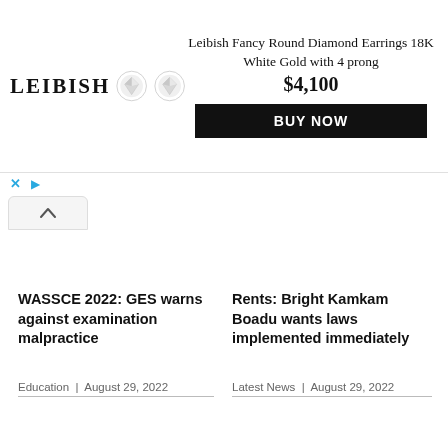[Figure (other): Leibish advertisement banner showing diamond earrings with price $4,100 and BUY NOW button]
WASSCE 2022: GES warns against examination malpractice
Education | August 29, 2022
Rents: Bright Kamkam Boadu wants laws implemented immediately
Latest News | August 29, 2022